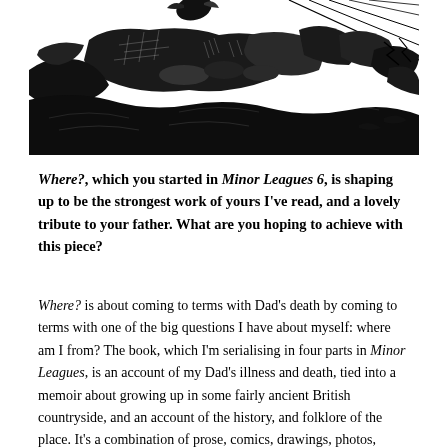[Figure (illustration): Black and white ink illustration showing a dynamic, sketchy scene with figures and landscapes, heavily cross-hatched in an expressive style.]
Where?, which you started in Minor Leagues 6, is shaping up to be the strongest work of yours I've read, and a lovely tribute to your father. What are you hoping to achieve with this piece?
Where? is about coming to terms with Dad's death by coming to terms with one of the big questions I have about myself: where am I from? The book, which I'm serialising in four parts in Minor Leagues, is an account of my Dad's illness and death, tied into a memoir about growing up in some fairly ancient British countryside, and an account of the history, and folklore of the place. It's a combination of prose, comics, drawings, photos, found